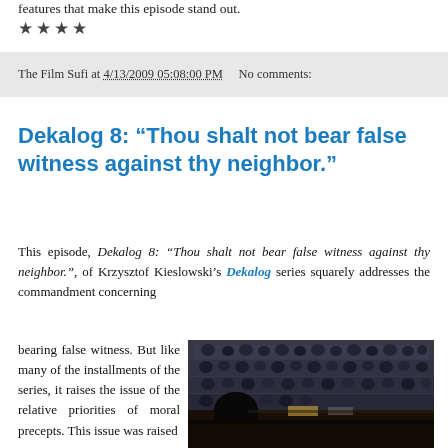features that make this episode stand out.
★ ★ ★ ★
The Film Sufi at 4/13/2009 05:08:00 PM   No comments:
Dekalog 8: “Thou shalt not bear false witness against thy neighbor.”
This episode, Dekalog 8: "Thou shalt not bear false witness against thy neighbor.", of Krzysztof Kieslowski's Dekalog series squarely addresses the commandment concerning bearing false witness. But like many of the installments of the series, it raises the issue of the relative priorities of moral precepts. This issue was raised
[Figure (photo): A scene from Dekalog 8 showing a lecture hall with audience members seated in tiered rows, viewed from behind a professor or speaker seated at a desk in the foreground.]